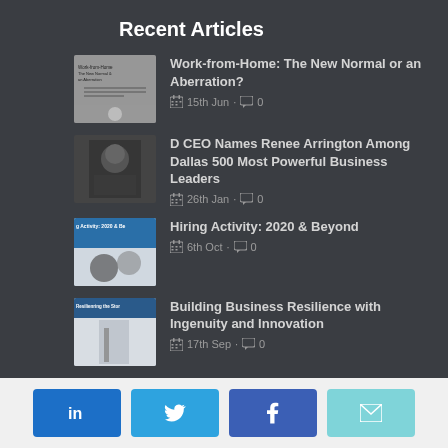Recent Articles
Work-from-Home: The New Normal or an Aberration? · 15th Jun · 0
D CEO Names Renee Arrington Among Dallas 500 Most Powerful Business Leaders · 26th Jan · 0
Hiring Activity: 2020 & Beyond · 6th Oct · 0
Building Business Resilience with Ingenuity and Innovation · 17th Sep · 0